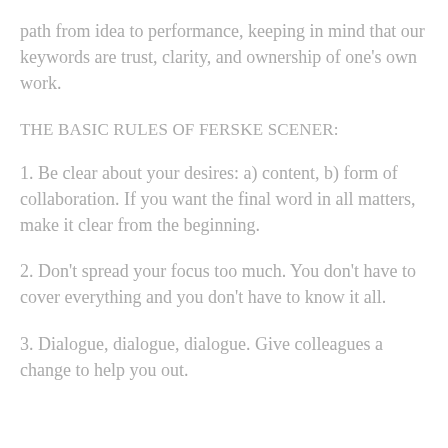path from idea to performance, keeping in mind that our keywords are trust, clarity, and ownership of one's own work.
THE BASIC RULES OF FERSKE SCENER:
1. Be clear about your desires: a) content, b) form of collaboration. If you want the final word in all matters, make it clear from the beginning.
2. Don't spread your focus too much. You don't have to cover everything and you don't have to know it all.
3. Dialogue, dialogue, dialogue. Give colleagues a change to help you out.